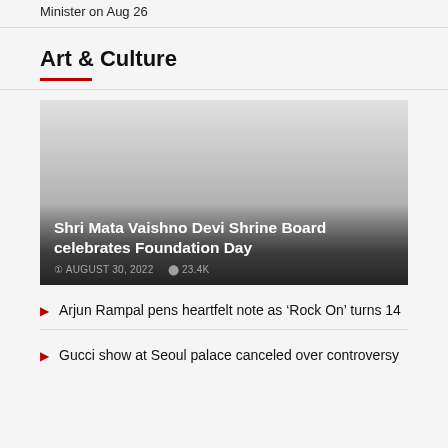Minister on Aug 26
Art & Culture
[Figure (photo): Featured image for Shri Mata Vaishno Devi Shrine Board article, with dark gradient overlay showing title and metadata]
Shri Mata Vaishno Devi Shrine Board celebrates Foundation Day
AUGUST 30, 2022  23.4K
Arjun Rampal pens heartfelt note as 'Rock On' turns 14
Gucci show at Seoul palace canceled over controversy